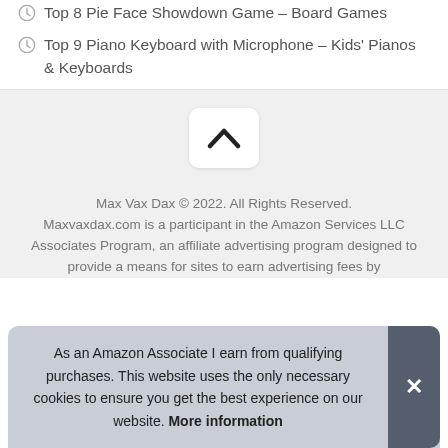Top 8 Pie Face Showdown Game – Board Games
Top 9 Piano Keyboard with Microphone – Kids' Pianos & Keyboards
[Figure (other): Scroll-to-top button with upward chevron arrow on light gray background]
Max Vax Dax © 2022. All Rights Reserved. Maxvaxdax.com is a participant in the Amazon Services LLC Associates Program, an affiliate advertising program designed to provide a means for sites to earn advertising fees by
As an Amazon Associate I earn from qualifying purchases. This website uses the only necessary cookies to ensure you get the best experience on our website. More information